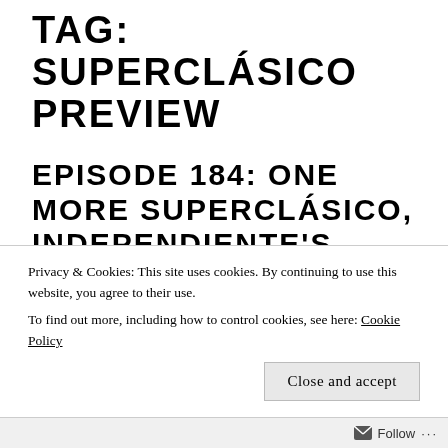TAG: SUPERCLÁSICO PREVIEW
EPISODE 184: ONE MORE SUPERCLÁSICO, INDEPENDIENTE'S EUROPE–BOUND PLAYERS, ARGENTINA SQUADS AND MORE
Privacy & Cookies: This site uses cookies. By continuing to use this website, you agree to their use.
To find out more, including how to control cookies, see here: Cookie Policy
Close and accept
Follow ...